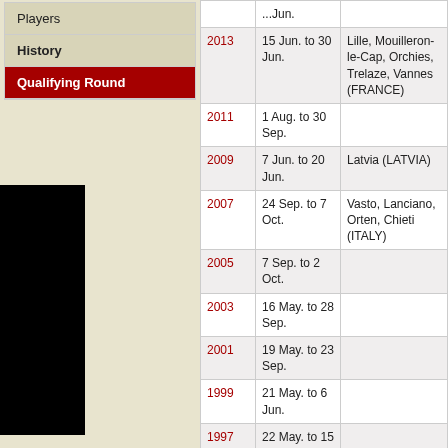Players
History
Qualifying Round
[Figure (photo): Black rectangular image/photo on left side]
| Year | Dates | Location |
| --- | --- | --- |
|  | ...Jun. |  |
| 2013 | 15 Jun. to 30 Jun. | Lille, Mouilleron-le-Cap, Orchies, Trelaze, Vannes (FRANCE) |
| 2011 | 1 Aug. to 30 Sep. |  |
| 2009 | 7 Jun. to 20 Jun. | Latvia (LATVIA) |
| 2007 | 24 Sep. to 7 Oct. | Vasto, Lanciano, Ortena, Chieti (ITALY) |
| 2005 | 7 Sep. to 2 Oct. |  |
| 2003 | 16 May. to 28 Sep. |  |
| 2001 | 19 May. to 23 Sep. |  |
| 1999 | 21 May. to 6 Jun. |  |
| 1997 | 22 May. to 15 Jun. |  |
| 1995 | 14 May. to 18 Jun. | Pecs (HUNGARY) |
| 1993 | 8 Jun. to 13 Jun. | Perugia (ITALY) |
| 1991 | 12 Jun. to | Tel Aviv |